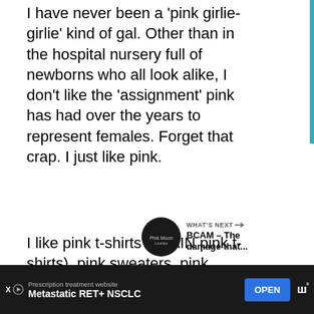I have never been a 'pink girlie-girlie' kind of gal. Other than in the hospital nursery full of newborns who all look alike, I don't like the 'assignment' pink has had over the years to represent females. Forget that crap. I just like pink.
I like pink t-shirts (PLAIN pink t-shirts), pink sweaters, pink flowers, pink lemonade (love that), pink sunrises, pink sunsets, pink hearts and my Pink Moon Lovelies friends (you know who you are). Heck, I even have a pink purse!
[Figure (other): Teal/cyan circular heart button and share button on right sidebar]
[Figure (other): WHAT'S NEXT arrow label with circular thumbnail and text: BCAM -- The damage that...]
[Figure (other): Advertisement bar at bottom: Prescription treatment website, Metastatic RET+ NSCLC, OPEN button, logo]